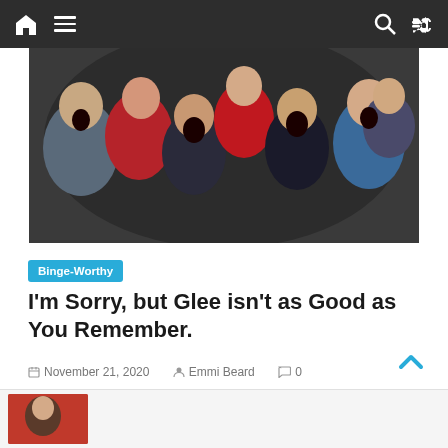Navigation bar with home, menu, search, and shuffle icons
[Figure (photo): Group photo of Glee TV show cast members with exaggerated surprised expressions, wearing red and blue clothing]
Binge-Worthy
I'm Sorry, but Glee isn't as Good as You Remember.
November 21, 2020  Emmi Beard  0
Who am I kidding? Plenty of us were suckered in by this group of loveable losers becoming an award-winning show
[Figure (photo): Partial thumbnail of another article at the bottom of the page]